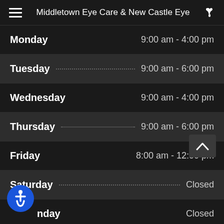Middletown Eye Care & New Castle Eye
| Day | Hours |
| --- | --- |
| Monday | 9:00 am - 4:00 pm |
| Tuesday | 9:00 am - 6:00 pm |
| Wednesday | 9:00 am - 4:00 pm |
| Thursday | 9:00 am - 6:00 pm |
| Friday | 8:00 am - 12:00 pm |
| Saturday | Closed |
| Sunday | Closed |